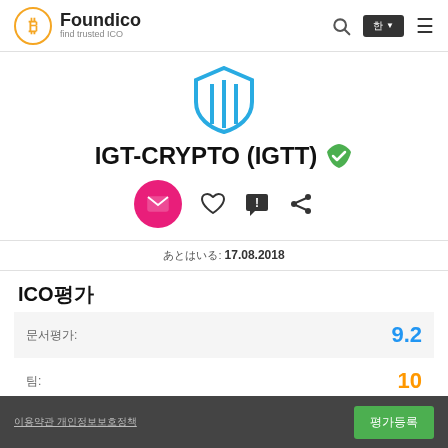Foundico – find trusted ICO
[Figure (logo): IGT-CRYPTO shield logo in blue]
IGT-CRYPTO (IGTT) ✔
날짜: 17.08.2018
ICO평가
| Label | Value |
| --- | --- |
| 전체평가: | 9.2 |
| 팀: | 10 |
| 비전: | 10 |
이용약관 개인정보보호정책 | 평가등록